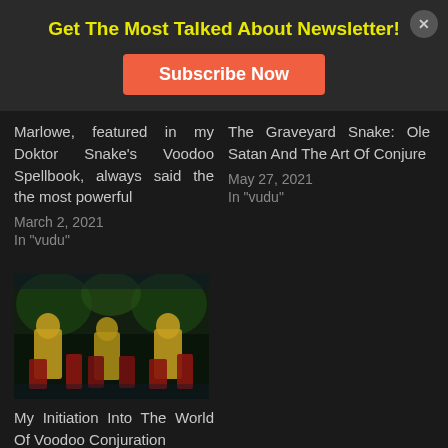Get The Most Talked About Newsletter!
Subscribe Now
Marlowe, featured in my Doktor Snake's Voodoo Spellbook, always said the the most powerful
March 2, 2021
In "vudu"
The Graveyard Snake: Ole Satan And The Art Of Conjure
May 27, 2021
In "vudu"
[Figure (photo): Colorful voodoo/conjure themed image with mirrored figures in dark green and red tones]
My Initiation Into The World Of Voodoo Conjuration
February 19, 2021
In "vudu"